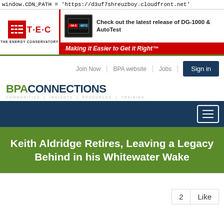window.CDN_PATH = 'https://d3uf7shreuzboy.cloudfront.net'
[Figure (screenshot): TEC (The Energy Conservatory) advertisement banner with logo on left and DG-1000 & AutoTest device image with text: 'Check out the latest release of DG-1000 & AutoTest' and 'Making it Easier to Get it Right™']
Join Now | BPA website | Jobs | Sign in
[Figure (logo): BPA CONNECTIONS logo with tagline: COMMUNITIES | INSIGHTS | RESOURCES | TRAINING]
[Figure (screenshot): Dark blue navigation bar with hamburger menu button on right]
Keith Aldridge Retires, Leaving a Legacy Behind in his Whitewater Wake
2 Like